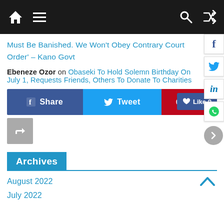Navigation bar with home, menu, search, and shuffle icons
Must Be Banished. We Won't Obey Contrary Court Order' – Kano Govt
Ebeneze Ozor on Obaseki To Hold Solemn Birthday On July 1, Requests Friends, Others To Donate To Charities
[Figure (other): Social share buttons: Facebook Share, Twitter Tweet, Pinterest Pin, Facebook Like 0, and repost button. Floating right-side icons: Facebook, Twitter, LinkedIn, WhatsApp, and next arrow.]
Archives
August 2022
July 2022